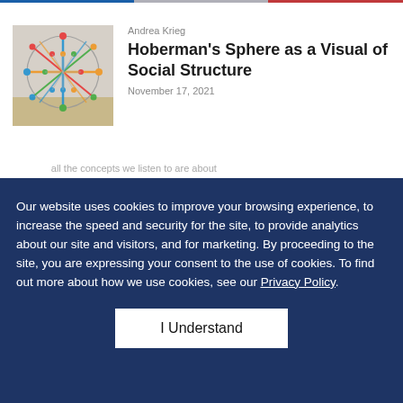[Figure (photo): Photo of a Hoberman's Sphere laid flat on a surface, colorful plastic interlocking pieces forming a circular lattice pattern]
Andrea Krieg
Hoberman's Sphere as a Visual of Social Structure
November 17, 2021
all the concepts we listen to are about...
Our website uses cookies to improve your browsing experience, to increase the speed and security for the site, to provide analytics about our site and visitors, and for marketing. By proceeding to the site, you are expressing your consent to the use of cookies. To find out more about how we use cookies, see our Privacy Policy.
I Understand